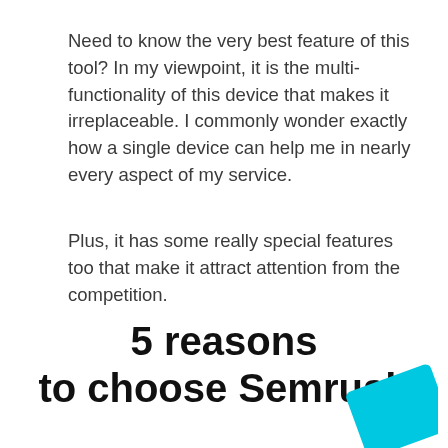Need to know the very best feature of this tool? In my viewpoint, it is the multi-functionality of this device that makes it irreplaceable. I commonly wonder exactly how a single device can help me in nearly every aspect of my service.
Plus, it has some really special features too that make it attract attention from the competition.
5 reasons to choose Semrush
[Figure (illustration): Cyan/turquoise colored geometric shape (rotated rectangle/card) partially visible at bottom right corner of the page]